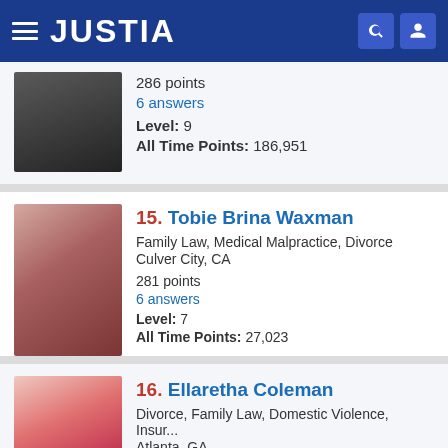JUSTIA
286 points
6 answers
Level: 9
All Time Points: 186,951
15. Tobie Brina Waxman
Family Law, Medical Malpractice, Divorce
Culver City, CA
281 points
6 answers
Level: 7
All Time Points: 27,023
16. Ellaretha Coleman
Divorce, Family Law, Domestic Violence, Insur...
Atlanta, GA
280 points